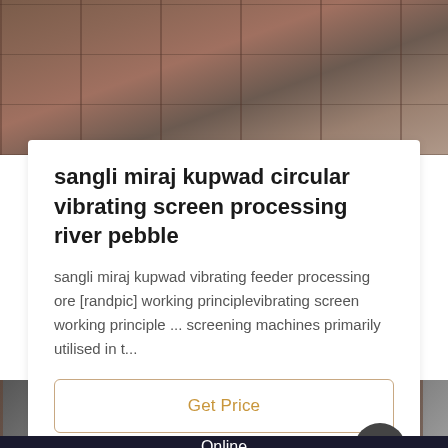[Figure (photo): Top portion of a industrial vibrating screen machine, close-up of rusty/brown metal panels]
sangli miraj kupwad circular vibrating screen processing river pebble
sangli miraj kupwad vibrating feeder processing ore [randpic] working principlevibrating screen working principle ... screening machines primarily utilised in t...
Get Price
[Figure (photo): Bottom portion showing industrial machinery in a warehouse/factory setting]
Get Quotation   Online   Online Chat